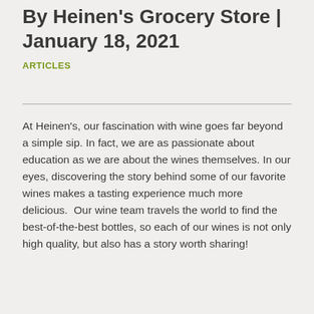By Heinen's Grocery Store | January 18, 2021
ARTICLES
At Heinen's, our fascination with wine goes far beyond a simple sip. In fact, we are as passionate about education as we are about the wines themselves. In our eyes, discovering the story behind some of our favorite wines makes a tasting experience much more delicious.  Our wine team travels the world to find the best-of-the-best bottles, so each of our wines is not only high quality, but also has a story worth sharing!